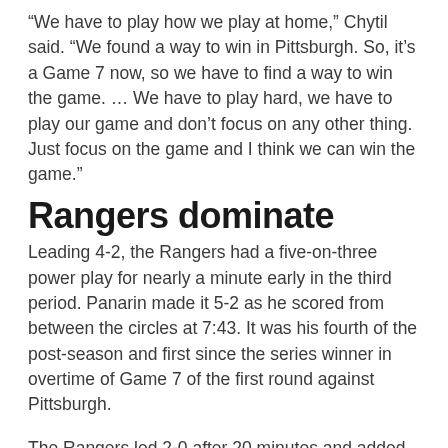“We have to play how we play at home,” Chytil said. “We found a way to win in Pittsburgh. So, it’s a Game 7 now, so we have to find a way to win the game. … We have to play hard, we have to play our game and don’t focus on any other thing. Just focus on the game and I think we can win the game.”
Rangers dominate
Leading 4-2, the Rangers had a five-on-three power play for nearly a minute early in the third period. Panarin made it 5-2 as he scored from between the circles at 7:43. It was his fourth of the post-season and first since the series winner in overtime of Game 7 of the first round against Pittsburgh.
The Rangers led 2-0 after 20 minutes and added to it early in the second period. Chytil got the puck from Fox, skated up the right side and beat Raanta from the right circle. It